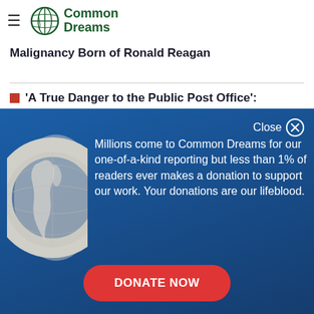Common Dreams
Malignancy Born of Ronald Reagan
'A True Danger to the Public Post Office':
[Figure (screenshot): Common Dreams donation modal overlay on blue gradient background with globe illustration, close button, descriptive text about donations, and a red 'DONATE NOW' button]
Millions come to Common Dreams for our one-of-a-kind reporting but less than 1% of readers ever makes a donation to support our work. Your donations are our lifeblood.
DONATE NOW